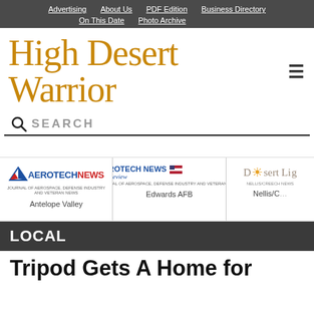Advertising | About Us | PDF Edition | Business Directory | On This Date | Photo Archive
High Desert Warrior
SEARCH
[Figure (logo): Aerotech News logo - Antelope Valley edition]
[Figure (logo): Aerotech News and Review logo - Edwards AFB edition]
[Figure (logo): Desert Light logo - Nellis/C edition]
LOCAL
Tripod Gets A Home for